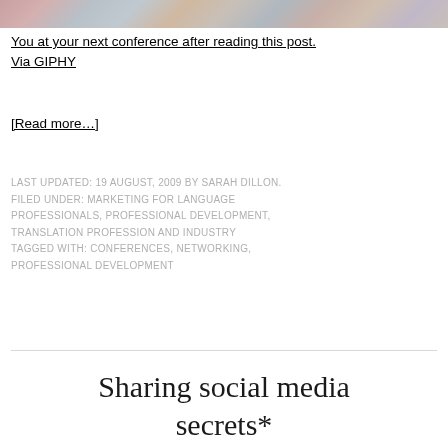[Figure (photo): Partial view of a colorful photo strip at the top of the page]
You at your next conference after reading this post.
Via GIPHY
[Read more…]
LAST UPDATED: 19 AUGUST, 2009 BY SARAH DILLON. FILED UNDER: MARKETING FOR LANGUAGE PROFESSIONALS, PROFESSIONAL DEVELOPMENT, TRANSLATION PROFESSION AND INDUSTRY TAGGED WITH: CONFERENCES, NETWORKING, PROFESSIONAL DEVELOPMENT
Sharing social media secrets*